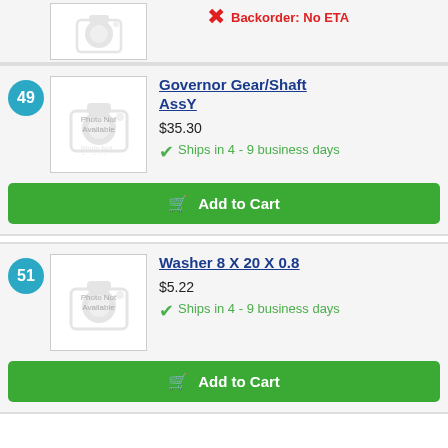[Figure (screenshot): Top partial product row with photo placeholder and Backorder: No ETA in red]
Backorder: No ETA
49
[Figure (photo): Photo Not Available placeholder image for Governor Gear/Shaft AssY]
Governor Gear/Shaft AssY
$35.30
Ships in 4 - 9 business days
Add to Cart
51
[Figure (photo): Photo Not Available placeholder image for Washer 8 X 20 X 0.8]
Washer 8 X 20 X 0.8
$5.22
Ships in 4 - 9 business days
Add to Cart